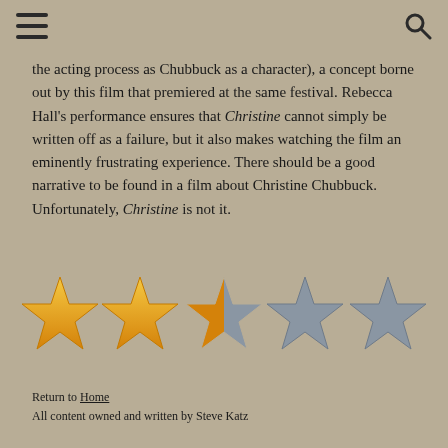[hamburger menu icon] [search icon]
the acting process as Chubbuck as a character), a concept borne out by this film that premiered at the same festival. Rebecca Hall's performance ensures that Christine cannot simply be written off as a failure, but it also makes watching the film an eminently frustrating experience. There should be a good narrative to be found in a film about Christine Chubbuck. Unfortunately, Christine is not it.
[Figure (other): Star rating showing 2 out of 5 stars: two filled golden/orange stars and three grey unfilled stars]
Return to Home
All content owned and written by Steve Katz